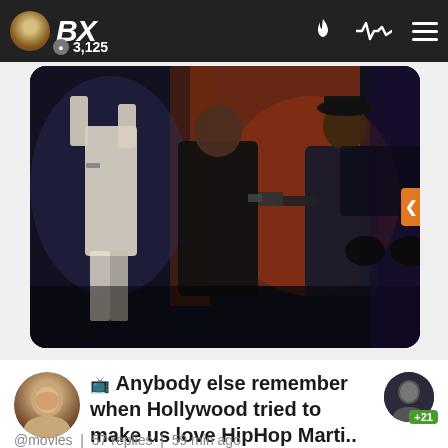BX | 3,125
[Figure (screenshot): Dark scene showing two figures, one with hands raised against a wall and one holding a gun, dramatic movie still]
📺 Anybody else remember when Hollywood tried to make us love HipHop Marti..
@movies | 57 replies | 59 min ago
👥 4 | by GarykingOftheD | 13 hr
📷 most viewed right now